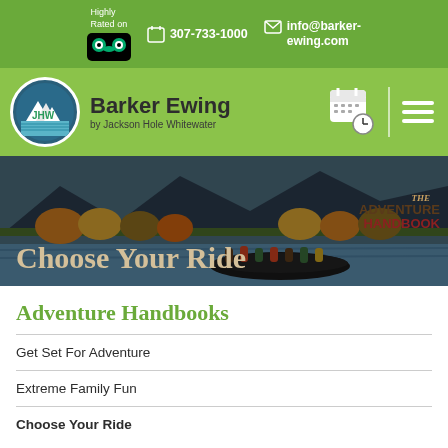Highly Rated on [TripAdvisor] | 307-733-1000 | info@barker-ewing.com
[Figure (screenshot): Barker Ewing by Jackson Hole Whitewater logo with navigation bar on green background]
[Figure (photo): Hero image showing rafters on a river with mountains and autumn trees in background. Overlay text: Choose Your Ride and THE ADVENTURE HANDBOOK badge]
Adventure Handbooks
Get Set For Adventure
Extreme Family Fun
Choose Your Ride